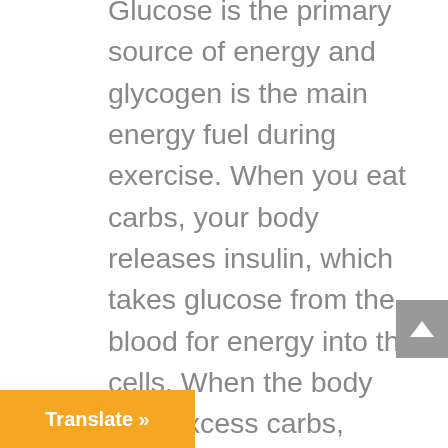Glucose is the primary source of energy and glycogen is the main energy fuel during exercise. When you eat carbs, your body releases insulin, which takes glucose from the blood for energy into the cells. When the body gets excess carbs, glucose molecules link together and produce longer units, called glycogen – glycogen is stored glucose. Your body can store about 1,600-2,800 calories of carbohydrates in the form of glycogen in your muscles, liver, red and kidneys before it is